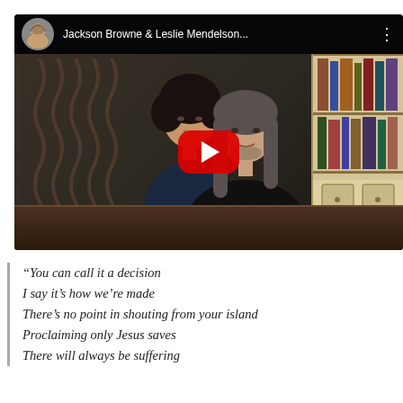[Figure (screenshot): YouTube video thumbnail showing Jackson Browne and Leslie Mendelson at a piano. The video player interface shows a channel avatar, video title 'Jackson Browne & Leslie Mendelson...', a red YouTube play button in the center, and a three-dot menu. The thumbnail shows two people at a piano with a bookshelf in the background.]
“You can call it a decision
I say it’s how we’re made
There’s no point in shouting from your island
Proclaiming only Jesus saves
There will always be suffering